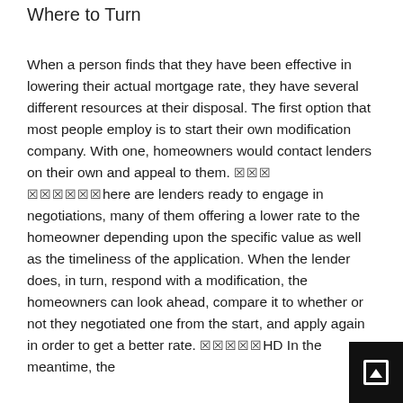Where to Turn
When a person finds that they have been effective in lowering their actual mortgage rate, they have several different resources at their disposal. The first option that most people employ is to start their own modification company. With one, homeowners would contact lenders on their own and appeal to them. [garbled text] here are lenders ready to engage in negotiations, many of them offering a lower rate to the homeowner depending upon the specific value as well as the timeliness of the application. When the lender does, in turn, respond with a modification, the homeowners can look ahead, compare it to whether or not they negotiated one from the start, and apply again in order to get a better rate. [garbled]HD In the meantime, the